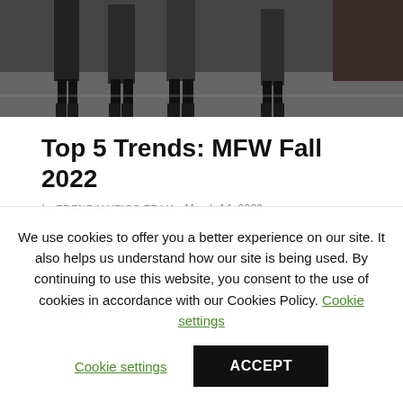[Figure (photo): Fashion show photo showing models' legs and feet on a runway at Milan Fashion Week Fall 2022]
Top 5 Trends: MFW Fall 2022
by TRENDALYTICS TEAM · March 14, 2022
Expect the unexpected. A lesson to be learned from designers in Milan this season as they focused on updating timeless staples with surreal
We use cookies to offer you a better experience on our site. It also helps us understand how our site is being used. By continuing to use this website, you consent to the use of cookies in accordance with our Cookies Policy. Cookie settings ACCEPT